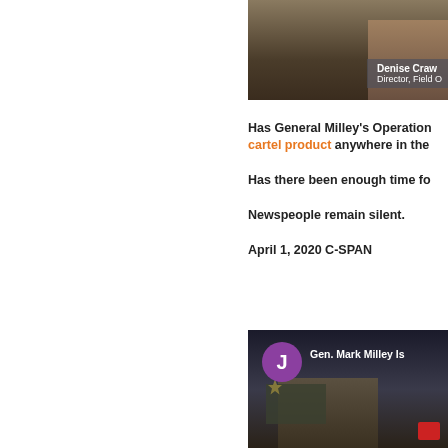[Figure (screenshot): Video thumbnail showing Denise Crawford, Director Field [Operations], speaking at a podium with overlay text label]
Has General Milley's Operation ... cartel product anywhere in the ...
Has there been enough time for...
Newspeople remain silent.
April 1, 2020 C-SPAN
[Figure (screenshot): C-SPAN video thumbnail showing Gen. Mark Milley Is... with purple avatar circle with letter J and White House briefing room background]